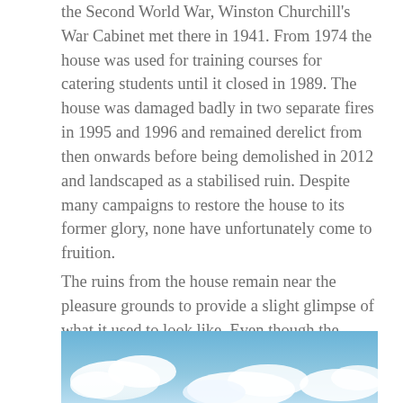the Second World War, Winston Churchill's War Cabinet met there in 1941. From 1974 the house was used for training courses for catering students until it closed in 1989. The house was damaged badly in two separate fires in 1995 and 1996 and remained derelict from then onwards before being demolished in 2012 and landscaped as a stabilised ruin. Despite many campaigns to restore the house to its former glory, none have unfortunately come to fruition.
The ruins from the house remain near the pleasure grounds to provide a slight glimpse of what it used to look like. Even though the house hasn't been resorted, it's lovely to see that a part of it is still there and is a wonderful legacy to a truly beautiful building which has a lot of history attached to it.
[Figure (photo): Partial sky photo with blue sky and white clouds visible at the bottom of the page.]